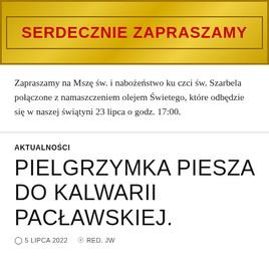[Figure (illustration): Golden textured banner with red bold text reading SERDECZNIE ZAPRASZAMY, bordered with dark gold frame]
Zapraszamy na Mszę św. i nabożeństwo ku czci św. Szarbela połączone z namaszczeniem olejem Świetego, które odbędzie się w naszej świątyni 23 lipca o godz. 17:00.
AKTUALNOŚCI
PIELGRZYMKA PIESZA DO KALWARII PACŁAWSKIEJ.
5 LIPCA 2022   RED. JW